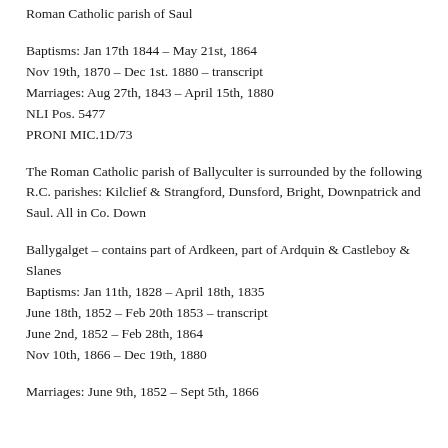Roman Catholic parish of Saul
Baptisms: Jan 17th 1844 – May 21st, 1864
Nov 19th, 1870 – Dec 1st. 1880 – transcript
Marriages: Aug 27th, 1843 – April 15th, 1880
NLI Pos. 5477
PRONI MIC.1D/73
The Roman Catholic parish of Ballyculter is surrounded by the following R.C. parishes: Kilclief & Strangford, Dunsford, Bright, Downpatrick and Saul. All in Co. Down
Ballygalget – contains part of Ardkeen, part of Ardquin & Castleboy & Slanes
Baptisms: Jan 11th, 1828 – April 18th, 1835
June 18th, 1852 – Feb 20th 1853 – transcript
June 2nd, 1852 – Feb 28th, 1864
Nov 10th, 1866 – Dec 19th, 1880
Marriages: June 9th, 1852 – Sept 5th, 1866